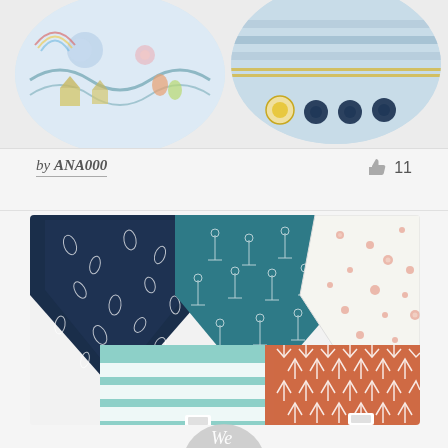[Figure (photo): Two circular cropped bib fabric samples showing colorful illustrated patterns — left circle has pastel city/nature illustrations, right circle has geometric teal/navy/gold dot patterns]
by ANA000
[Figure (photo): Five bandana-style baby bibs arranged in fan pattern: navy blue with white leaf prints, teal with anchor prints, white with pink floral prints (top row), aqua/white horizontal stripes and terracotta/orange with white arrow prints (bottom row)]
[Figure (logo): Partial circular grey logo with cursive text visible at bottom of page]